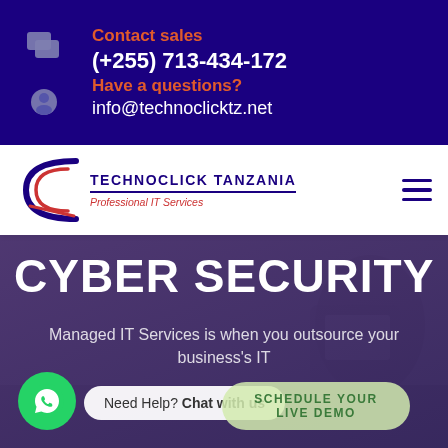Contact sales (+255) 713-434-172 Have a questions? info@technoclicktz.net
[Figure (logo): Technoclick Tanzania logo with swoosh graphic and text 'TECHNOCLICK TANZANIA Professional IT Services']
CYBER SECURITY
Managed IT Services is when you outsource your business's IT
Need Help? Chat with us
SCHEDULE YOUR LIVE DEMO